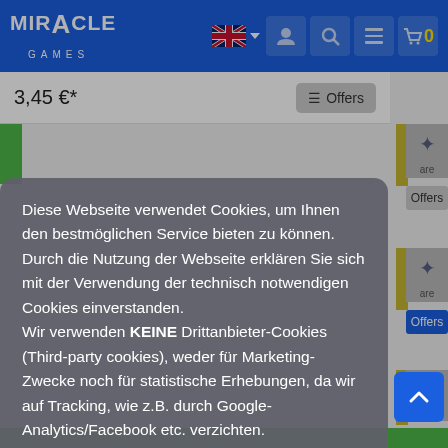MIRACLE GAMES — navigation header with language selector, user icon, search, menu, cart (0)
3,45 €*
Diese Webseite verwendet Cookies, um Ihnen den bestmöglichen Service bieten zu können.
Durch die Nutzung der Webseite erklären Sie sich mit der Verwendung der technisch notwendigen Cookies einverstanden.
Wir verwenden KEINE Drittanbieter-Cookies (Third-party cookies), weder für Marketing-Zwecke noch für statistische Erhebungen, da wir auf Tracking, wie z.B. durch Google-Analytics/Facebook etc. verzichten.
Mehr Informationen
Einverstanden